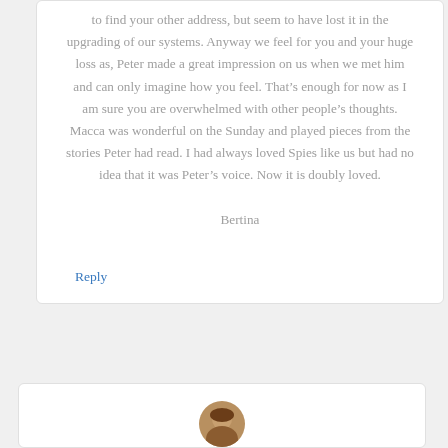to find your other address, but seem to have lost it in the upgrading of our systems. Anyway we feel for you and your huge loss as, Peter made a great impression on us when we met him and can only imagine how you feel. That's enough for now as I am sure you are overwhelmed with other people's thoughts. Macca was wonderful on the Sunday and played pieces from the stories Peter had read. I had always loved Spies like us but had no idea that it was Peter's voice. Now it is doubly loved.
Bertina
Reply
[Figure (photo): Small circular avatar photo of a person, partially visible at the bottom of the page]